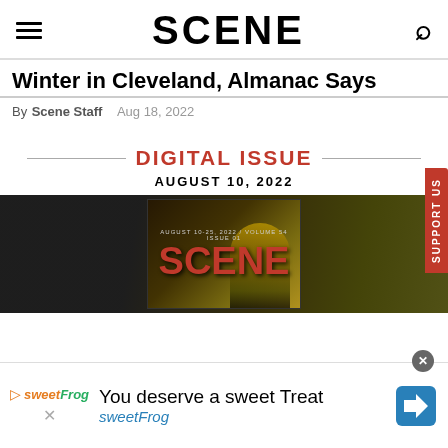SCENE
Winter in Cleveland, Almanac Says
By Scene Staff  Aug 18, 2022
DIGITAL ISSUE
AUGUST 10, 2022
[Figure (photo): Scene magazine cover – August 10-25, 2022 issue, showing the SCENE logo in red on a dark background with a concert performer image]
SUPPORT US
You deserve a sweet Treat
sweetFrog